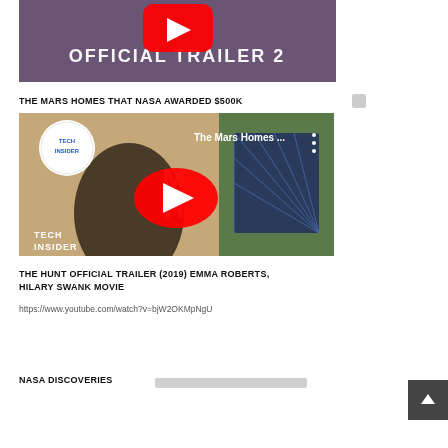[Figure (screenshot): Partial YouTube video thumbnail showing 'OFFICIAL TRAILER 2' text with a YouTube play button overlay, dark purple/grey scene with figures]
THE MARS HOMES THAT NASA AWARDED $500K
[Figure (screenshot): YouTube video thumbnail for 'The Mars Homes...' by Tech Insider. Shows two habitat structures with Tech Insider logo circle in top left, three-dot menu, and large red YouTube play button in center.]
THE HUNT OFFICIAL TRAILER (2019) EMMA ROBERTS, HILARY SWANK MOVIE
https://www.youtube.com/watch?v=bjW2OKMpNgU
NASA DISCOVERIES